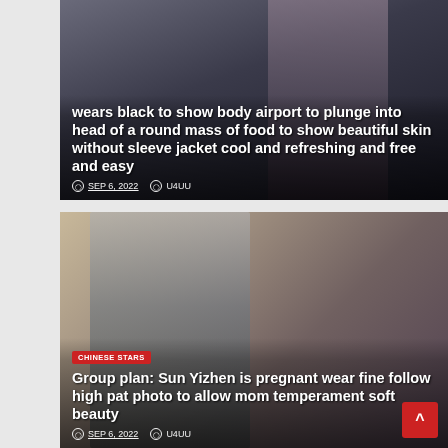[Figure (photo): Article card with blurred background photo of a person in black clothing at an airport, with overlaid headline text and metadata]
wears black to show body airport to plunge into head of a round mass of food to show beautiful skin without sleeve jacket cool and refreshing and free and easy
SEP 6, 2022   U4UU
[Figure (photo): Article card with background photo of a pregnant woman in fine clothing, with red CHINESE STARS badge, headline text and metadata]
CHINESE STARS
Group plan: Sun Yizhen is pregnant wear fine follow high pat photo to allow mom temperament soft beauty
SEP 6, 2022   U4UU